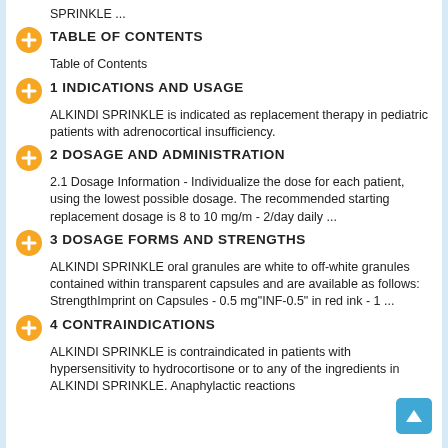SPRINKLE ...
TABLE OF CONTENTS
Table of Contents
1 INDICATIONS AND USAGE
ALKINDI SPRINKLE is indicated as replacement therapy in pediatric patients with adrenocortical insufficiency.
2 DOSAGE AND ADMINISTRATION
2.1 Dosage Information - Individualize the dose for each patient, using the lowest possible dosage. The recommended starting replacement dosage is 8 to 10 mg/m - 2/day daily ...
3 DOSAGE FORMS AND STRENGTHS
ALKINDI SPRINKLE oral granules are white to off-white granules contained within transparent capsules and are available as follows: StrengthImprint on Capsules - 0.5 mg"INF-0.5" in red ink - 1 ...
4 CONTRAINDICATIONS
ALKINDI SPRINKLE is contraindicated in patients with hypersensitivity to hydrocortisone or to any of the ingredients in ALKINDI SPRINKLE. Anaphylactic reactions